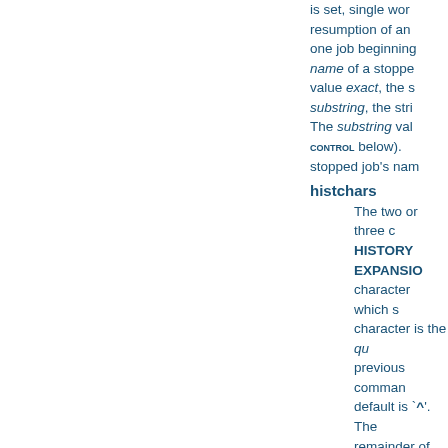is set, single word resumption of an one job beginning name of a stopped value exact, the s substring, the stri The substring valu CONTROL below). stopped job's nam
histchars
The two or three characters which signal HISTORY EXPANSION character which s character is the qu previous command default is `^'. The remainder of the l `#'. The history co remaining words of the line as a co
Arrays
Bash provides one-dim used as an indexed arra